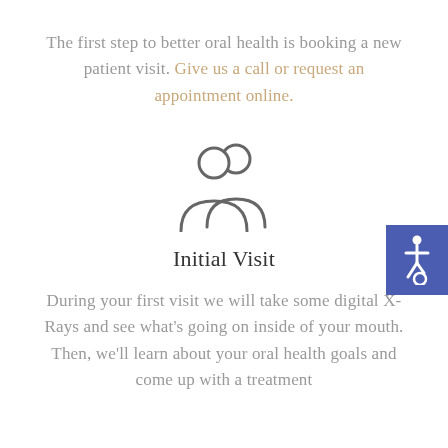The first step to better oral health is booking a new patient visit. Give us a call or request an appointment online.
[Figure (illustration): Two person/people silhouette icon in gray outline style representing patients]
[Figure (illustration): Accessibility wheelchair icon in white on blue background, positioned at right edge]
Initial Visit
During your first visit we will take some digital X-Rays and see what's going on inside of your mouth. Then, we'll learn about your oral health goals and come up with a treatment